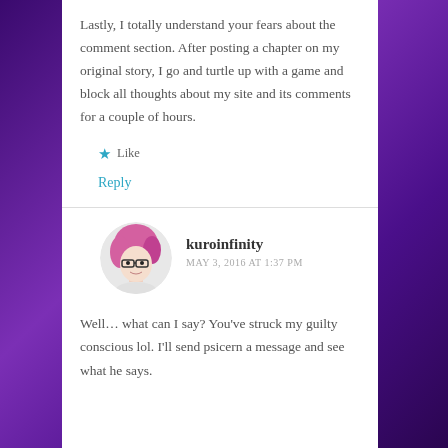Lastly, I totally understand your fears about the comment section. After posting a chapter on my original story, I go and turtle up with a game and block all thoughts about my site and its comments for a couple of hours.
★ Like
Reply
kuroinfinity
MAY 3, 2016 AT 1:37 PM
Well… what can I say? You've struck my guilty conscious lol. I'll send psicern a message and see what he says.